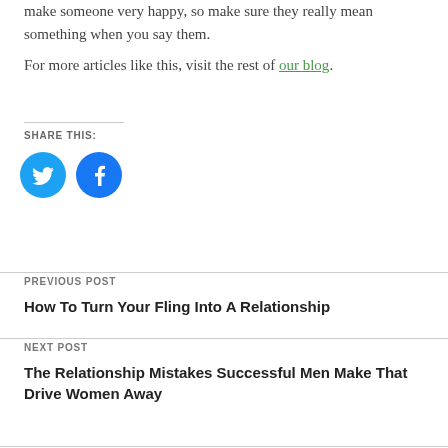make someone very happy, so make sure they really mean something when you say them.
For more articles like this, visit the rest of our blog.
SHARE THIS:
[Figure (illustration): Twitter bird icon (blue circle with white bird) and Facebook f icon (blue circle with white f)]
PREVIOUS POST
How To Turn Your Fling Into A Relationship
NEXT POST
The Relationship Mistakes Successful Men Make That Drive Women Away